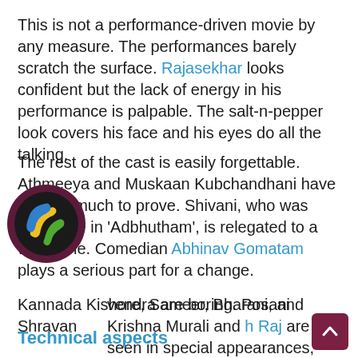This is not a performance-driven movie by any measure. The performances barely scratch the surface. Rajasekhar looks confident but the lack of energy in his performance is palpable. The salt-n-pepper look covers his face and his eyes do all the talking.
The rest of the cast is easily forgettable. Athmeeya and Muskaan Kubchandhani have nothing much to prove. Shivani, who was enjoyable in 'Adbhutham', is relegated to a weak role. Comedian Abhinav Gomatam plays a serious part for a change.
Kannada Kishore, Sameer, Bharani, and Shravan vendra are boring. Posani Krishna Murali and h Raj are seen in special appearances, with the former as a top cop and the latter as a lawyer.
Technical aspects
[Figure (logo): Circular app icon with dark purple border, yellow, green, and blue worm/snake graphics on black background]